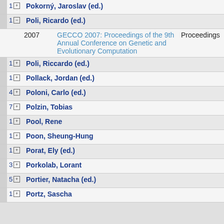1 [+] Pokorný, Jaroslav (ed.)
1 [-] Poli, Ricardo (ed.)
2007  GECCO 2007: Proceedings of the 9th Annual Conference on Genetic and Evolutionary Computation  Proceedings
1 [+] Poli, Riccardo (ed.)
1 [+] Pollack, Jordan (ed.)
4 [+] Poloni, Carlo (ed.)
7 [+] Polzin, Tobias
1 [+] Pool, Rene
1 [+] Poon, Sheung-Hung
1 [+] Porat, Ely (ed.)
3 [+] Porkolab, Lorant
5 [+] Portier, Natacha (ed.)
1 [+] Portz, Sascha